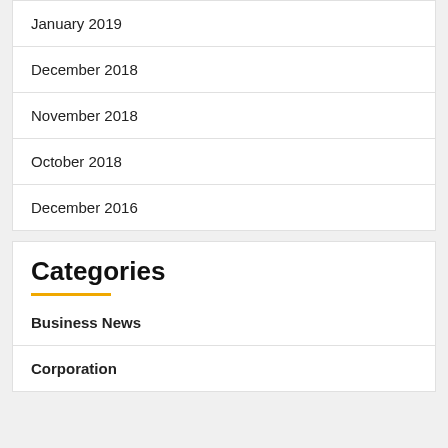January 2019
December 2018
November 2018
October 2018
December 2016
Categories
Business News
Corporation